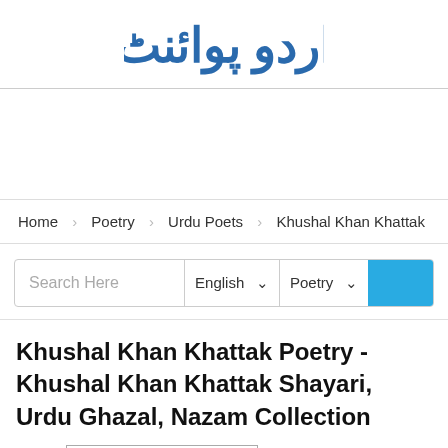اردو پوائنٹ (Urdu Point logo)
[Figure (logo): Urdu Point website logo with Urdu calligraphic text in blue]
Home  Poetry  Urdu Poets  Khushal Khan Khattak
Search Here  English ▾  Poetry ▾  [Search button]
Khushal Khan Khattak Poetry - Khushal Khan Khattak Shayari, Urdu Ghazal, Nazam Collection